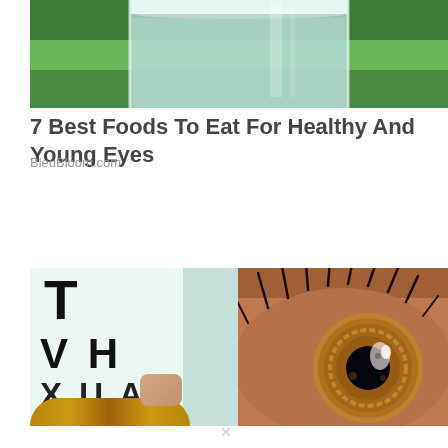[Figure (photo): Top portion of a glass of water with green plant background]
7 Best Foods To Eat For Healthy And Young Eyes
BleuBloom.com
[Figure (photo): Two side-by-side photos: left shows an eye chart with letters T, VH, XUA and glasses at bottom; right shows an extreme macro close-up of a human eye with brown iris and visible eyelashes]